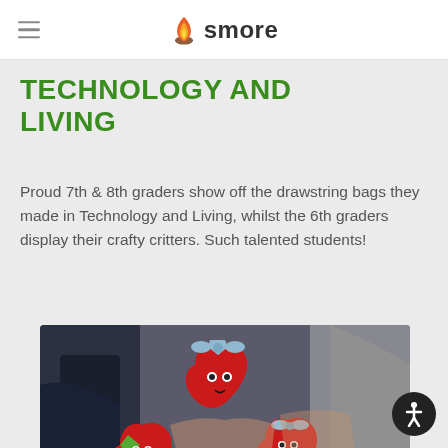smore
TECHNOLOGY AND LIVING
Proud 7th & 8th graders show off the drawstring bags they made in Technology and Living, whilst the 6th graders display their crafty critters. Such talented students!
[Figure (photo): Students holding red heart-shaped stuffed animal crafty critters with googly eyes and bow ties, made in Technology and Living class.]